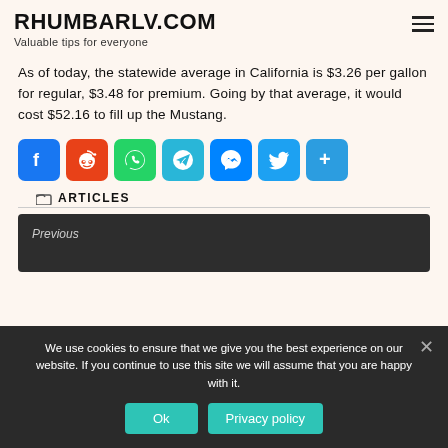RHUMBARLV.COM
Valuable tips for everyone
As of today, the statewide average in California is $3.26 per gallon for regular, $3.48 for premium. Going by that average, it would cost $52.16 to fill up the Mustang.
[Figure (other): Social sharing buttons row: Facebook, Reddit, WhatsApp, Telegram, Messenger, Twitter, Share]
ARTICLES
Previous
We use cookies to ensure that we give you the best experience on our website. If you continue to use this site we will assume that you are happy with it.